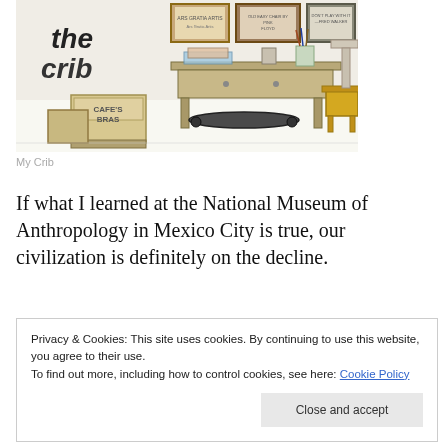[Figure (illustration): Hand-drawn illustration of a creative workspace titled 'the crib' showing a desk with art supplies, framed signs on the wall, boxes labeled 'Cafe's Bras', a stool, and various objects on and around the desk.]
My Crib
If what I learned at the National Museum of Anthropology in Mexico City is true, our civilization is definitely on the decline.
Privacy & Cookies: This site uses cookies. By continuing to use this website, you agree to their use.
To find out more, including how to control cookies, see here: Cookie Policy
Close and accept